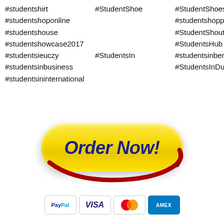#studentshirt  #StudentShoe  #StudentShoes
#studentshoponline  #studentshopping
#studentshouse  #StudentShoutout
#studentshowcase2017  #StudentsHub
#studentsieuczy  #StudentsIn  #studentsinberlin
#studentsinbusiness  #StudentsInDubai
#studentsininternational
[Figure (illustration): Yellow pill-shaped 'Order Now!' button with italic bold dark blue text, surrounded by a red swirl/ring, with PayPal, VISA, MasterCard, and AMEX payment icons below]